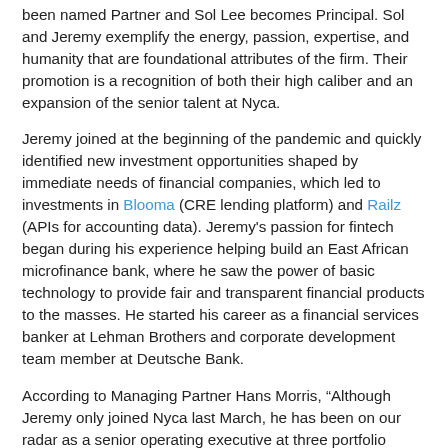been named Partner and Sol Lee becomes Principal. Sol and Jeremy exemplify the energy, passion, expertise, and humanity that are foundational attributes of the firm. Their promotion is a recognition of both their high caliber and an expansion of the senior talent at Nyca.
Jeremy joined at the beginning of the pandemic and quickly identified new investment opportunities shaped by immediate needs of financial companies, which led to investments in Blooma (CRE lending platform) and Railz (APIs for accounting data). Jeremy's passion for fintech began during his experience helping build an East African microfinance bank, where he saw the power of basic technology to provide fair and transparent financial products to the masses. He started his career as a financial services banker at Lehman Brothers and corporate development team member at Deutsche Bank.
According to Managing Partner Hans Morris, “Although Jeremy only joined Nyca last March, he has been on our radar as a senior operating executive at three portfolio companies: LendingClub, Affirm, and Aven., Additionally, having been the first employee at SoFi, he is an experienced builder of fintech companies from launch to scale. His focus on bank and lending modernization aligns with Nyca’s vision for the future of financial services.”